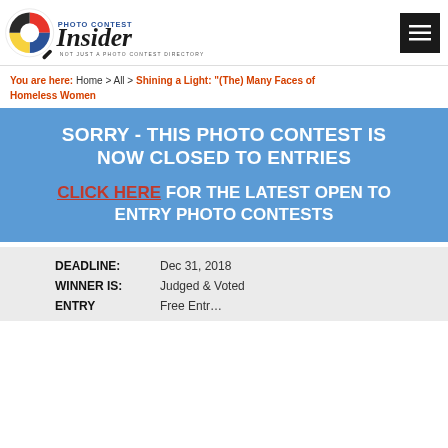[Figure (logo): Photo Contest Insider logo with camera aperture icon and text 'Photo Contest Insider - Not Just A Photo Contest Directory']
You are here: Home > All > Shining a Light: "(The) Many Faces of Homeless Women
SORRY - THIS PHOTO CONTEST IS NOW CLOSED TO ENTRIES

CLICK HERE FOR THE LATEST OPEN TO ENTRY PHOTO CONTESTS
| Field | Value |
| --- | --- |
| DEADLINE: | Dec 31, 2018 |
| WINNER IS: | Judged & Voted |
| ENTRY | Free Entr... |